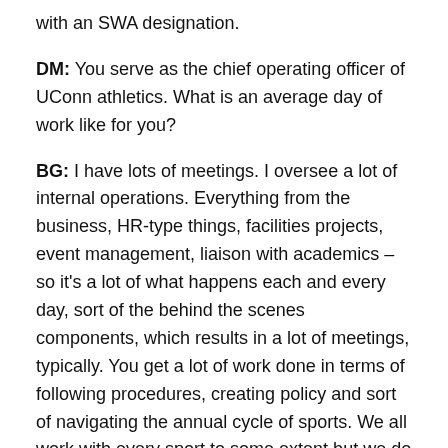with an SWA designation.
DM: You serve as the chief operating officer of UConn athletics. What is an average day of work like for you?
BG: I have lots of meetings. I oversee a lot of internal operations. Everything from the business, HR-type things, facilities projects, event management, liaison with academics – so it's a lot of what happens each and every day, sort of the behind the scenes components, which results in a lot of meetings, typically. You get a lot of work done in terms of following procedures, creating policy and sort of navigating the annual cycle of sports. We all work with every sport to some extent but we do have some sport-specific responsibilities. I oversee football, for example, and I have a handful of other sports as well. So depending on that cycle, it can certainly change your day-to-day. And then I'm part of